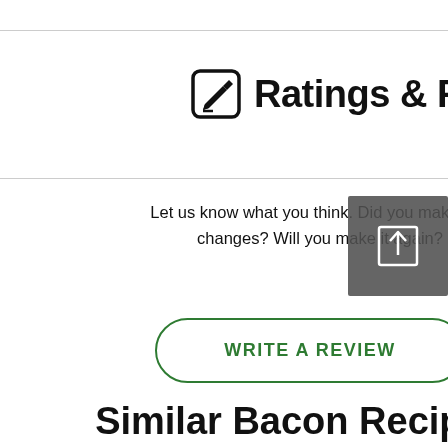Ratings & Reviews
Let us know what you think. Did you make any changes? Will you make it again?
[Figure (other): Share/upload icon overlay button — square with upward arrow]
WRITE A REVIEW
Similar Bacon Recipes